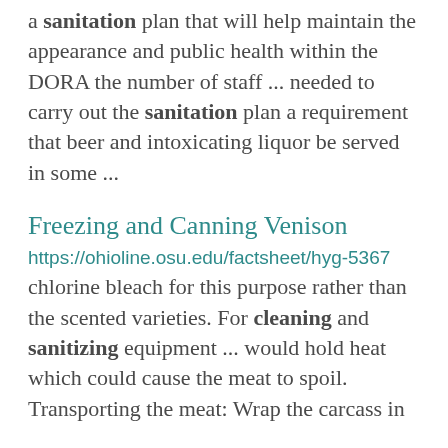a sanitation plan that will help maintain the appearance and public health within the DORA the number of staff ... needed to carry out the sanitation plan a requirement that beer and intoxicating liquor be served in some ...
Freezing and Canning Venison
https://ohioline.osu.edu/factsheet/hyg-5367
chlorine bleach for this purpose rather than the scented varieties. For cleaning and sanitizing equipment ... would hold heat which could cause the meat to spoil. Transporting the meat: Wrap the carcass in